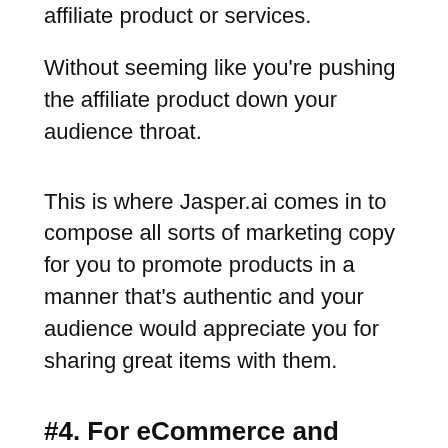affiliate product or services.
Without seeming like you're pushing the affiliate product down your audience throat.
This is where Jasper.ai comes in to compose all sorts of marketing copy for you to promote products in a manner that's authentic and your audience would appreciate you for sharing great items with them.
#4. For eCommerce and internet store owners
E-commerce changes the method people buy and sells items, so it's no surprise that operating in this area would be difficult.